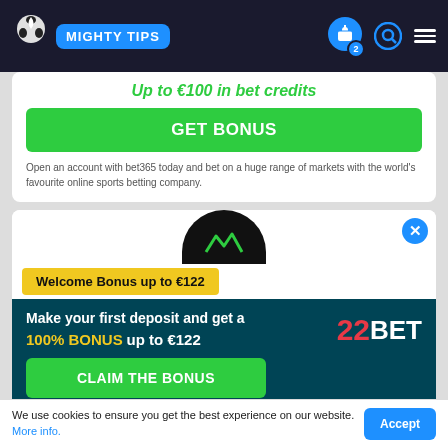MIGHTY TIPS
Up to €100 in bet credits
GET BONUS
Open an account with bet365 today and bet on a huge range of markets with the world's favourite online sports betting company.
Welcome Bonus up to €122
Make your first deposit and get a 100% BONUS up to €122
CLAIM THE BONUS
We use cookies to ensure you get the best experience on our website. More info.